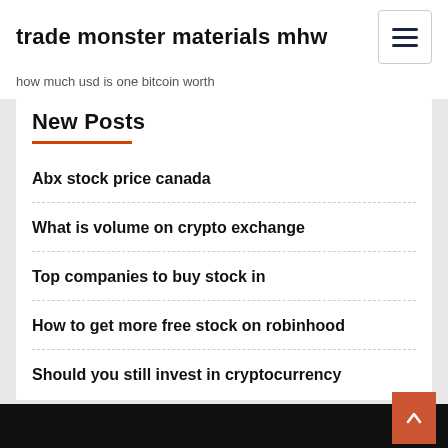trade monster materials mhw
how much usd is one bitcoin worth
New Posts
Abx stock price canada
What is volume on crypto exchange
Top companies to buy stock in
How to get more free stock on robinhood
Should you still invest in cryptocurrency